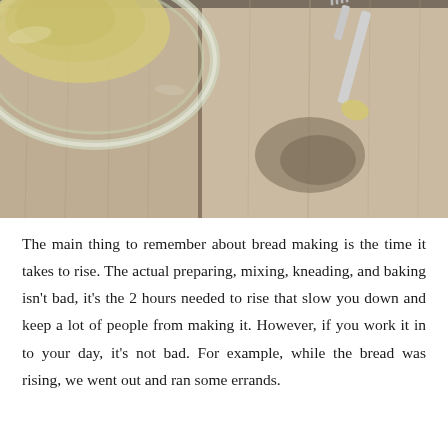[Figure (photo): Overhead photo showing a glass bowl with bread dough on a wooden plank surface, and a fork with dough on it to the right side.]
The main thing to remember about bread making is the time it takes to rise. The actual preparing, mixing, kneading, and baking isn't bad, it's the 2 hours needed to rise that slow you down and keep a lot of people from making it. However, if you work it in to your day, it's not bad. For example, while the bread was rising, we went out and ran some errands.